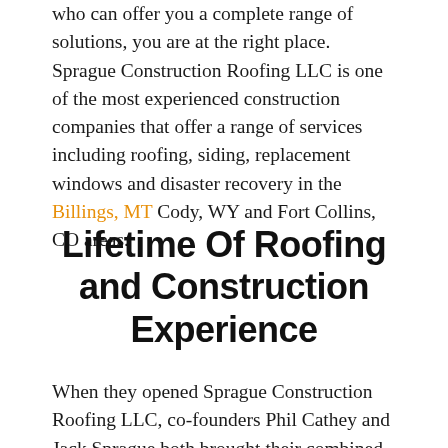who can offer you a complete range of solutions, you are at the right place. Sprague Construction Roofing LLC is one of the most experienced construction companies that offer a range of services including roofing, siding, replacement windows and disaster recovery in the Billings, MT Cody, WY and Fort Collins, CO areas.
Lifetime Of Roofing and Construction Experience
When they opened Sprague Construction Roofing LLC, co-founders Phil Cathey and Jack Sprague both brought their combined experience and expertise in new home construction and general contracting services, and for decades they are